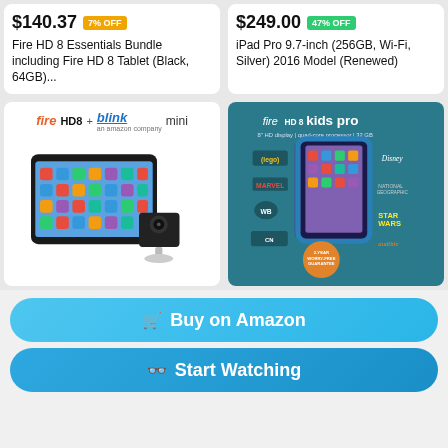$140.37  7% OFF
Fire HD 8 Essentials Bundle including Fire HD 8 Tablet (Black, 64GB)...
$249.00  47% OFF
iPad Pro 9.7-inch (256GB, Wi-Fi, Silver) 2016 Model (Renewed)
[Figure (photo): Fire HD8 + Blink mini product image showing a tablet and a small security camera]
[Figure (photo): Fire HD 8 kids pro tablet product image with brand logos: LEGO, Disney, MARVEL, National Geographic, WB, Star Wars, CN, Audible. 8" HD display, quad-core processor, 32 GB.]
Buy on Amazon
Start Watching